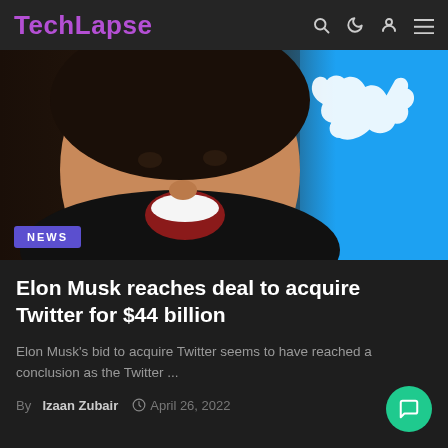TechLapse
[Figure (photo): Photo of a man laughing in front of a blue Twitter logo background]
Elon Musk reaches deal to acquire Twitter for $44 billion
Elon Musk's bid to acquire Twitter seems to have reached a conclusion as the Twitter ...
By Izaan Zubair  April 26, 2022